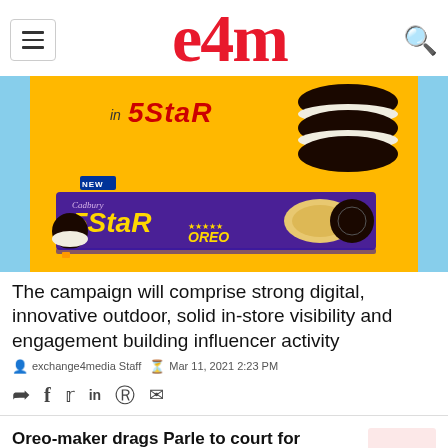e4m
[Figure (photo): Advertisement image for Cadbury 5Star Oreo product showing Oreo cookies stacked, a new Cadbury 5Star Oreo chocolate bar on a yellow background with light blue surroundings]
The campaign will comprise strong digital, innovative outdoor, solid in-store visibility and engagement building influencer activity
exchange4media Staff  Mar 11, 2021 2:23 PM
Oreo-maker drags Parle to court for 'copying' cookie design